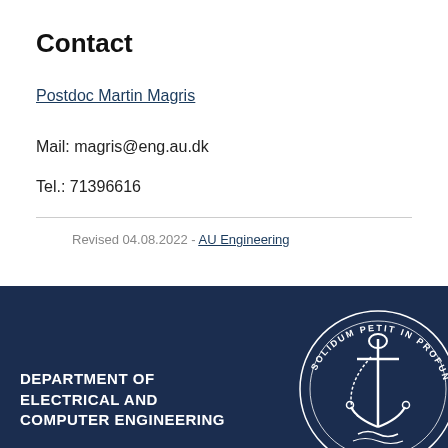Contact
Postdoc Martin Magris
Mail: magris@eng.au.dk
Tel.: 71396616
Revised 04.08.2022 - AU Engineering
DEPARTMENT OF ELECTRICAL AND COMPUTER ENGINEERING
[Figure (logo): Aarhus University seal/crest with text 'SOLIDUM PETIT IN PROFUNDIS' in a circular arrangement around a ship anchor illustration]